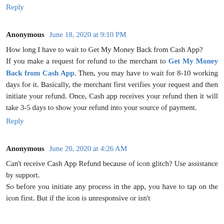Reply
Anonymous  June 18, 2020 at 9:10 PM
How long I have to wait to Get My Money Back from Cash App?
If you make a request for refund to the merchant to Get My Money Back from Cash App. Then, you may have to wait for 8-10 working days for it. Basically, the merchant first verifies your request and then initiate your refund. Once, Cash app receives your refund then it will take 3-5 days to show your refund into your source of payment.
Reply
Anonymous  June 20, 2020 at 4:26 AM
Can't receive Cash App Refund because of icon glitch? Use assistance by support.
So before you initiate any process in the app, you have to tap on the icon first. But if the icon is unresponsive or isn't